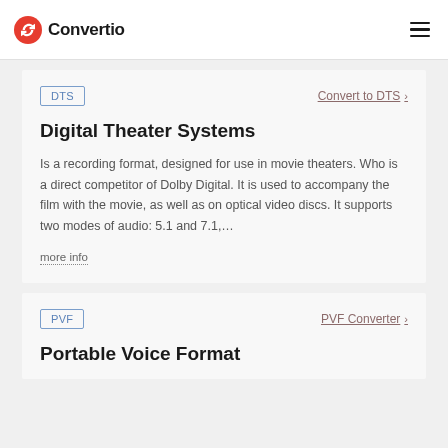Convertio
DTS
Convert to DTS
Digital Theater Systems
Is a recording format, designed for use in movie theaters. Who is a direct competitor of Dolby Digital. It is used to accompany the film with the movie, as well as on optical video discs. It supports two modes of audio: 5.1 and 7.1,…
more info
PVF
PVF Converter
Portable Voice Format